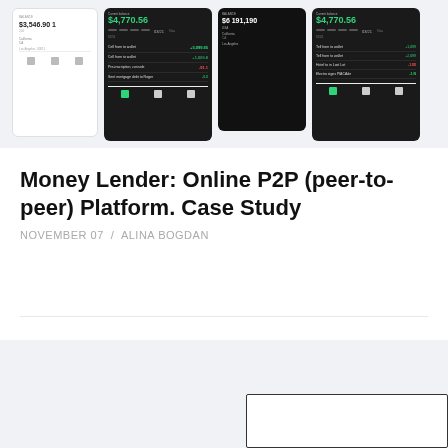[Figure (screenshot): Multiple mobile app screenshots showing a P2P money lending app interface. Light and dark themed screens showing balances of $4,770.56, transaction lists, and navigation bars.]
Money Lender: Online P2P (peer-to-peer) Platform. Case Study
NOVEMBER 07  /  ALINA BOGDAN
[Figure (screenshot): Partial bottom section showing a gray background, microphone button, scroll-to-top arrow, and partial bottom navigation bar.]